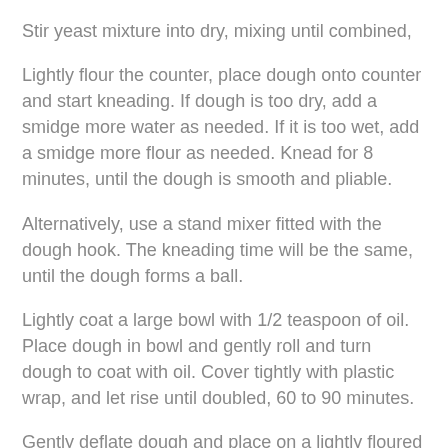Stir yeast mixture into dry, mixing until combined,
Lightly flour the counter, place dough onto counter and start kneading. If dough is too dry, add a smidge more water as needed. If it is too wet, add a smidge more flour as needed. Knead for 8 minutes, until the dough is smooth and pliable.
Alternatively, use a stand mixer fitted with the dough hook. The kneading time will be the same, until the dough forms a ball.
Lightly coat a large bowl with 1/2 teaspoon of oil. Place dough in bowl and gently roll and turn dough to coat with oil. Cover tightly with plastic wrap, and let rise until doubled, 60 to 90 minutes.
Gently deflate dough and place on a lightly floured surface.
Knead for an additional 3 to 5 minutes.
Preheat oven to 350°F (180°C, or gas mark 4).